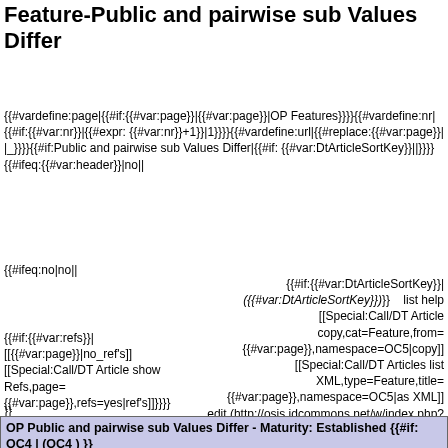Feature-Public and pairwise sub Values Differ
{{#vardefine:page|{{#if:{{#var:page}}|{{#var:page}}|OP Features}}}}{{#vardefine:nr|{{#if:{{#var:nr}}|{{#expr:{{#var:nr}}+1}}|1}}}}{{#vardefine:url|{{#replace:{{#var:page}}| |_}}}}{{#if:Public and pairwise sub Values Differ|{{#if:{{#var:DtArticleSortKey}}||}}}}{{#ifeq:{{#var:header}}|no||
{{#ifeq:no|no||
{{#if:{{#var:DtArticleSortKey}}|<em>({{#var:DtArticleSortKey}})</em>}}   list help
[[Special:Call/DT Article
copy,cat=Feature,from=
{{#var:page}},namespace=OC5|copy]]
[[Special:Call/DT Articles list
XML,type=Feature,title=
{{#var:page}},namespace=OC5|as XML]]
edit (http://osis.idcommons.net/w/index.php?title=OC5:{{#var:url}}&action=edit&section=
{{#var:nr}})
{{#if:{{#var:refs}}|
[{{#var:page}}|no_ref's]]
[[Special:Call/DT Article show
Refs,page=
{{#var:page}},refs=yes|ref's]]}}}}
}}
| OP Public and pairwise sub Values Differ - Maturity: Established {{#if: OC4 | (OC4 ) }} |
| --- |
| Polling place | Request public | The public | The public and |